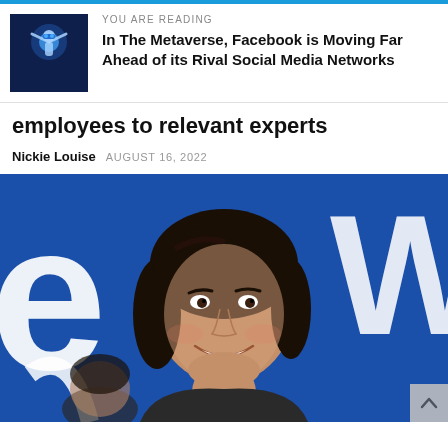YOU ARE READING
In The Metaverse, Facebook is Moving Far Ahead of its Rival Social Media Networks
employees to relevant experts
Nickie Louise  AUGUST 16, 2022
[Figure (photo): Smiling man with dark shoulder-length hair in front of blue background with white lettering]